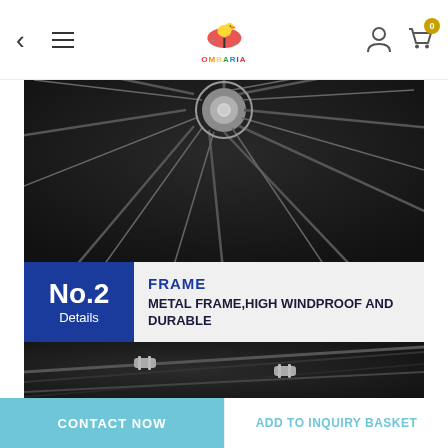< ≡  [Logo: OMBARIA]  [Person icon] [Cart icon with badge 0]
[Figure (photo): Close-up view of black umbrella frame spokes and center hub from underneath, showing metal ribs radiating outward against dark fabric]
[Figure (infographic): Product detail banner: No.2 Details label in dark blue box; FRAME heading in blue; text: METAL FRAME,HIGH WINDPROOF AND DURABLE]
[Figure (photo): Close-up photo of black umbrella frame showing metal joint connectors on spokes against dark fabric]
CONTACT NOW
ADD TO INQUIRY BASKET